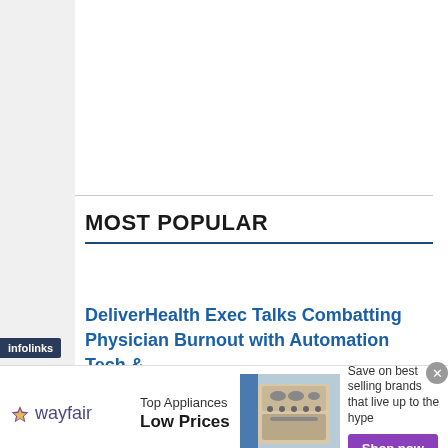MOST POPULAR
DeliverHealth Exec Talks Combatting Physician Burnout with Automation Tech &
[Figure (other): Wayfair advertisement banner: 'Top Appliances Low Prices' with image of kitchen range/stove appliance, 'Save on best selling brands that live up to the hype', and a purple 'Shop now' button. Infolinks badge visible on left side.]